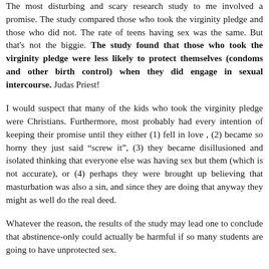The most disturbing and scary research study to me involved a promise. The study compared those who took the virginity pledge and those who did not. The rate of teens having sex was the same. But that's not the biggie. The study found that those who took the virginity pledge were less likely to protect themselves (condoms and other birth control) when they did engage in sexual intercourse. Judas Priest!
I would suspect that many of the kids who took the virginity pledge were Christians. Furthermore, most probably had every intention of keeping their promise until they either (1) fell in love , (2) became so horny they just said “screw it”, (3) they became disillusioned and isolated thinking that everyone else was having sex but them (which is not accurate), or (4) perhaps they were brought up believing that masturbation was also a sin, and since they are doing that anyway they might as well do the real deed.
Whatever the reason, the results of the study may lead one to conclude that abstinence-only could actually be harmful if so many students are going to have unprotected sex.